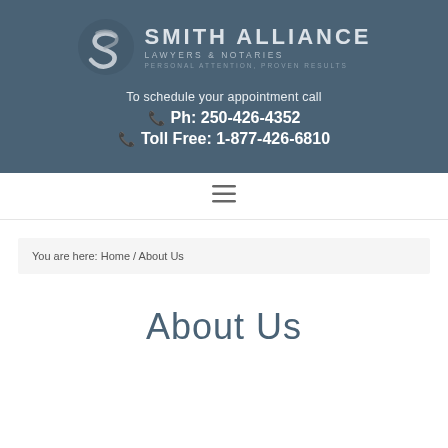[Figure (logo): Smith Alliance Lawyers & Notaries logo with stylized S symbol and tagline 'Personal Attention, Proven Results']
To schedule your appointment call
Ph: 250-426-4352
Toll Free: 1-877-426-6810
[Figure (other): Hamburger menu icon (three horizontal lines)]
You are here: Home / About Us
About Us